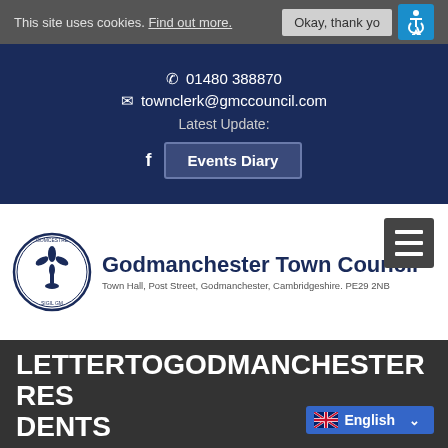This site uses cookies. Find out more.   Okay, thank yo
01480 388870
townclerk@gmccouncil.com
Latest Update:
Events Diary
[Figure (logo): Godmanchester Town Council circular seal/logo with fleur-de-lis and Latin text]
Godmanchester Town Council
Town Hall, Post Street, Godmanchester, Cambridgeshire. PE29 2NB
LETTERTOGODMANCHESTER RESIDENTS